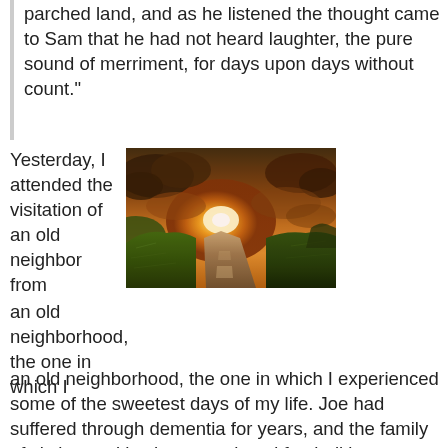parched land, and as he listened the thought came to Sam that he had not heard laughter, the pure sound of merriment, for days upon days without count."
Yesterday, I attended the visitation of an old neighbor from an old neighborhood, the one in which I experienced some of the sweetest days of my life. Joe had suffered through dementia for years, and the family of six boys with whom we played football in our backyards felt a
[Figure (photo): A dramatic landscape photo showing a road leading toward a brilliant golden sunset with dark storm clouds, green grassy banks flanking the road, with warm orange and yellow sky tones.]